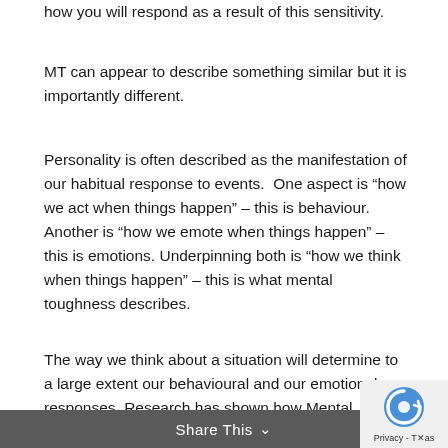how you will respond as a result of this sensitivity.
MT can appear to describe something similar but it is importantly different.
Personality is often described as the manifestation of our habitual response to events.  One aspect is “how we act when things happen” – this is behaviour. Another is “how we emote when things happen” – this is emotions. Underpinning both is “how we think when things happen” – this is what mental toughness describes.
The way we think about a situation will determine to a large extent our behavioural and our emotional responses. Research has shown how Mental Toughness relates to the Big 5 personality mode (described in another article in this series).
Share This